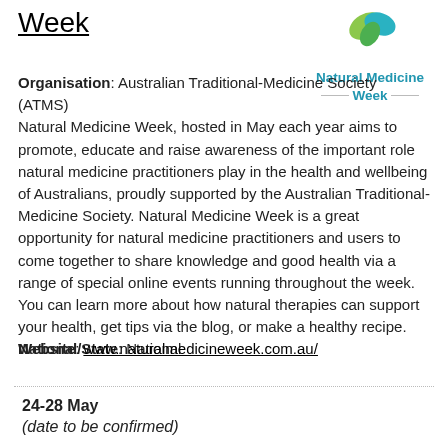Week
[Figure (logo): Natural Medicine Week logo with green and blue leaf design, text reads 'Natural Medicine Week']
Organisation: Australian Traditional-Medicine Society (ATMS)
Natural Medicine Week, hosted in May each year aims to promote, educate and raise awareness of the important role natural medicine practitioners play in the health and wellbeing of Australians, proudly supported by the Australian Traditional-Medicine Society. Natural Medicine Week is a great opportunity for natural medicine practitioners and users to come together to share knowledge and good health via a range of special online events running throughout the week. You can learn more about how natural therapies can support your health, get tips via the blog, or make a healthy recipe.
National/State: National
Website: www.naturalmedicineweek.com.au/
24-28 May
(date to be confirmed)